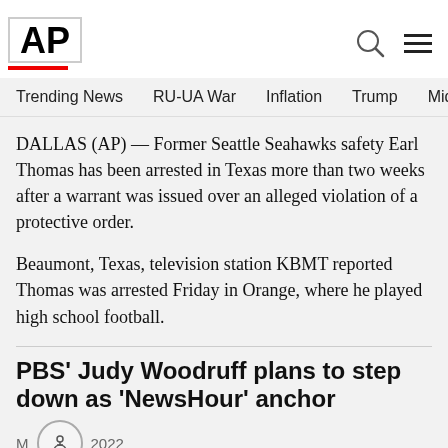[Figure (logo): AP (Associated Press) logo with red underline]
Trending News  RU-UA War  Inflation  Trump  Midterm elect
DALLAS (AP) — Former Seattle Seahawks safety Earl Thomas has been arrested in Texas more than two weeks after a warrant was issued over an alleged violation of a protective order.
Beaumont, Texas, television station KBMT reported Thomas was arrested Friday in Orange, where he played high school football.
PBS' Judy Woodruff plans to step down as 'NewsHour' anchor
May 2022
It would lea...